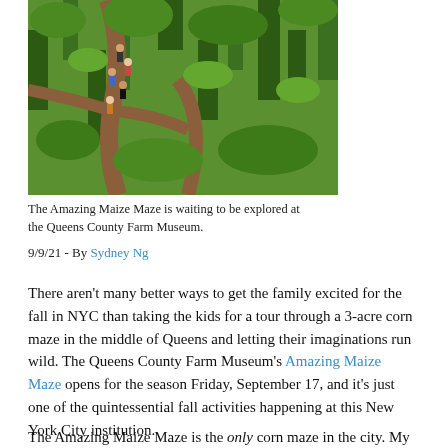[Figure (photo): Aerial view of people walking through a corn maze with green tall cornstalks and dirt paths visible from above]
The Amazing Maize Maze is waiting to be explored at the Queens County Farm Museum.
9/9/21 - By Sydney Ng
There aren't many better ways to get the family excited for the fall in NYC than taking the kids for a tour through a 3-acre corn maze in the middle of Queens and letting their imaginations run wild. The Queens County Farm Museum's Amazing Maize Maze opens for the season Friday, September 17, and it's just one of the quintessential fall activities happening at this New York City institution.
The Amazing Maize Maze is the only corn maze in the city. My